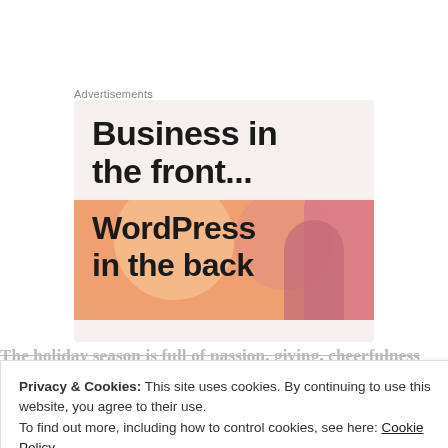Advertisements
[Figure (screenshot): Advertisement banner: top half shows 'Business in the front...' on light beige background; bottom half shows 'WordPress in the back' on orange/salmon background with decorative circles and rounded rectangles]
The holiday season is full of passion, giving, cheerfulness...
Privacy & Cookies: This site uses cookies. By continuing to use this website, you agree to their use.
To find out more, including how to control cookies, see here: Cookie Policy
Close and accept